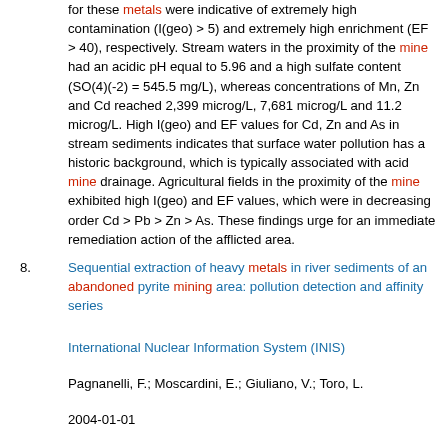for these metals were indicative of extremely high contamination (I(geo) > 5) and extremely high enrichment (EF > 40), respectively. Stream waters in the proximity of the mine had an acidic pH equal to 5.96 and a high sulfate content (SO(4)(-2) = 545.5 mg/L), whereas concentrations of Mn, Zn and Cd reached 2,399 microg/L, 7,681 microg/L and 11.2 microg/L. High I(geo) and EF values for Cd, Zn and As in stream sediments indicates that surface water pollution has a historic background, which is typically associated with acid mine drainage. Agricultural fields in the proximity of the mine exhibited high I(geo) and EF values, which were in decreasing order Cd > Pb > Zn > As. These findings urge for an immediate remediation action of the afflicted area.
8. Sequential extraction of heavy metals in river sediments of an abandoned pyrite mining area: pollution detection and affinity series
International Nuclear Information System (INIS)
Pagnanelli, F.; Moscardini, E.; Giuliano, V.; Toro, L.
2004-01-01